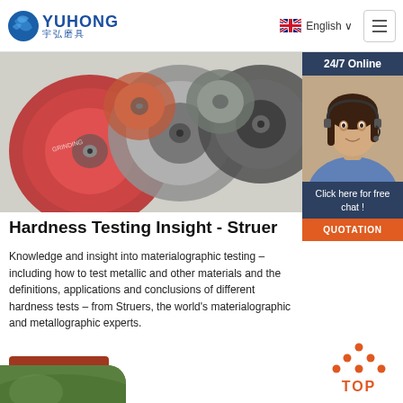[Figure (logo): YUHONG 宇弘磨具 logo with blue wave icon]
English ∨
[Figure (photo): Header navigation menu button (hamburger icon)]
[Figure (photo): Photo of multiple grinding/cutting discs]
[Figure (photo): 24/7 Online chat panel with female customer service agent photo, 'Click here for free chat!' text and QUOTATION button]
Hardness Testing Insight - Struer
Knowledge and insight into materialographic testing – including how to test metallic and other materials and the definitions, applications and conclusions of different hardness tests – from Struers, the world's materialographic and metallographic experts.
[Figure (other): Get Price button (brown/red rounded rectangle)]
[Figure (other): TOP back-to-top button with orange dots triangle and TOP text]
[Figure (photo): Partial green object visible at bottom of page]